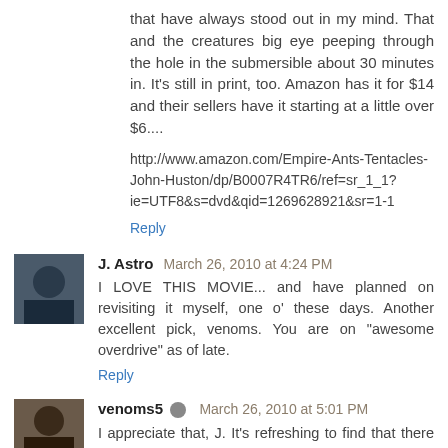that have always stood out in my mind. That and the creatures big eye peeping through the hole in the submersible about 30 minutes in. It's still in print, too. Amazon has it for $14 and their sellers have it starting at a little over $6....
http://www.amazon.com/Empire-Ants-Tentacles-John-Huston/dp/B0007R4TR6/ref=sr_1_1?ie=UTF8&s=dvd&qid=1269628921&sr=1-1
Reply
J. Astro  March 26, 2010 at 4:24 PM
I LOVE THIS MOVIE... and have planned on revisiting it myself, one o' these days. Another excellent pick, venoms. You are on "awesome overdrive" as of late.
Reply
venoms5  March 26, 2010 at 5:01 PM
I appreciate that, J. It's refreshing to find that there are a